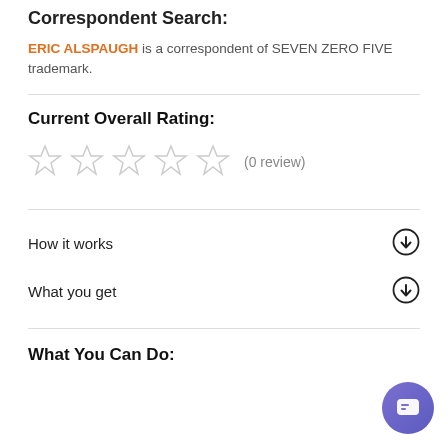Correspondent Search:
ERIC ALSPAUGH is a correspondent of SEVEN ZERO FIVE trademark.
Current Overall Rating:
☆ ☆ ☆ ☆ ☆ (0 review)
How it works
What you get
What You Can Do: